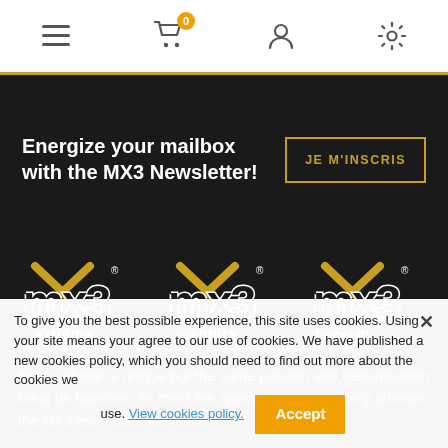Navigation bar with menu, cart (0), user, and settings icons
Energize your mailbox with the MX3 Newsletter!
JE M'INSCRIS
[Figure (logo): Three MX3 brand logos: mx3 extrême, mx3 aventure, mx3 force&fit — white stylized text on dark background]
Every athlete is unique but the same passion and determination bring us together. To meet the specific needs of every athletes, the MX3 team uses the same passion and the determination develop, manufacture solutions to
To give you the best possible experience, this site uses cookies. Using your site means your agree to our use of cookies. We have published a new cookies policy, which you should need to find out more about the cookies we use. View cookies policy.  Accept